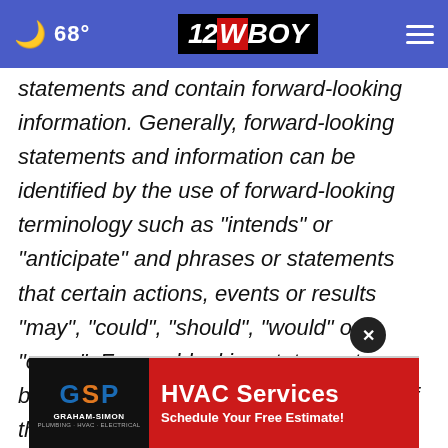68° | 12WBOY
statements and contain forward-looking information. Generally, forward-looking statements and information can be identified by the use of forward-looking terminology such as "intends" or "anticipate" and phrases or statements that certain actions, events or results "may", "could", "should", "would" or "occur". Forward-looking statements are based on certain material assumptions of the company and the opinions and estimates of management
[Figure (logo): Graham-Simon Plumbing HVAC Electrical logo with GSP letters and HVAC Services advertisement banner: Schedule Your Free Estimate!]